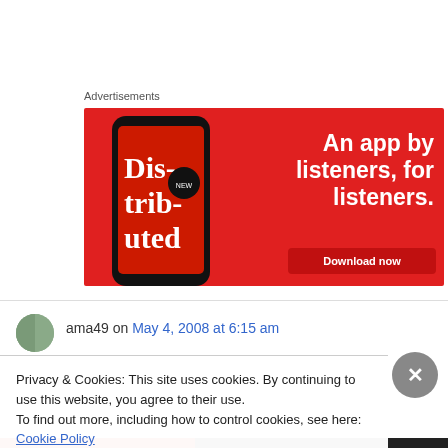[Figure (other): Advertisement banner with red background showing a smartphone displaying a podcast app called 'Distributed' and text 'An app by listeners, for listeners.' with a Download now button]
ama49 on May 4, 2008 at 6:15 am
Privacy & Cookies: This site uses cookies. By continuing to use this website, you agree to their use.
To find out more, including how to control cookies, see here: Cookie Policy
Close and accept